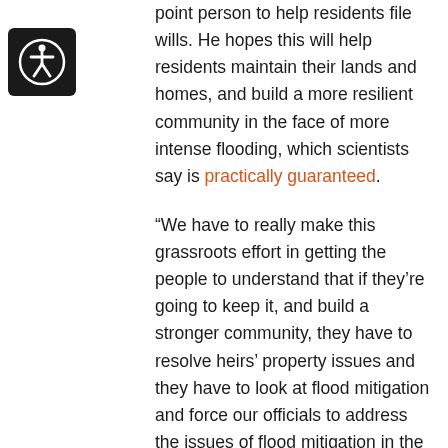[Figure (logo): Accessibility icon — white stick figure in circle on black rounded square background]
point person to help residents file wills. He hopes this will help residents maintain their lands and homes, and build a more resilient community in the face of more intense flooding, which scientists say is practically guaranteed.
“We have to really make this grassroots effort in getting the people to understand that if they’re going to keep it, and build a stronger community, they have to resolve heirs’ property issues and they have to look at flood mitigation and force our officials to address the issues of flood mitigation in the community.”
The way he sees it, the failure to recognize the obstacles that heirs’ property poses to respond to future climate disasters like floods spells trouble for the collective. “The survival